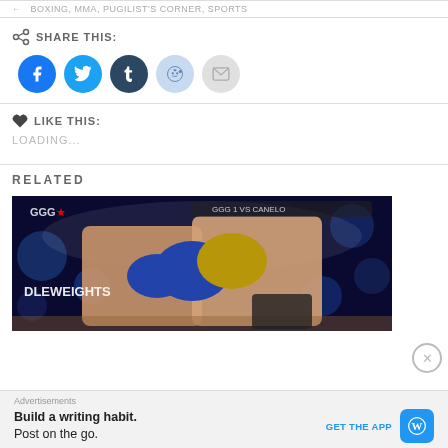BOXING, MMA, PUGILIST'S CORNER, SPORTS
SHARE THIS:
LIKE THIS:
LOADING...
RELATED
[Figure (photo): Two boxers exchanging punches in a boxing match. Text DLEWEIGHTS visible on screen. Arena setting with blue bokeh lights. GGG branding visible.]
Advertisements
Build a writing habit. Post on the go.
GET THE APP